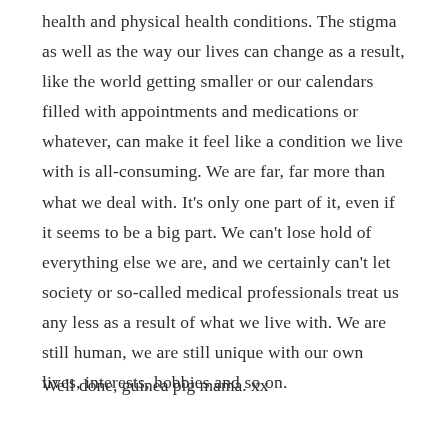health and physical health conditions. The stigma as well as the way our lives can change as a result, like the world getting smaller or our calendars filled with appointments and medications or whatever, can make it feel like a condition we live with is all-consuming. We are far, far more than what we deal with. It's only one part of it, even if it seems to be a big part. We can't lose hold of everything else we are, and we certainly can't let society or so-called medical professionals treat us any less as a result of what we live with. We are still human, we are still unique with our own lives, interests, hobbies and so on.
Well done, guinea pig mama. xx